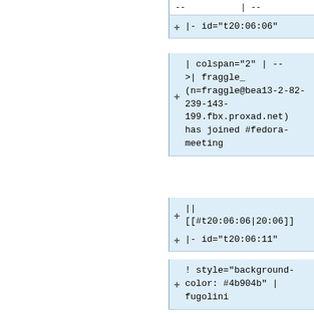|- id="t20:06:06"
| colspan="2" | -- &gt;| fraggle_ (n=fraggle@bea13-2-82-239-143-199.fbx.proxad.net) has joined #fedora-meeting
|| [[#t20:06:06|20:06]]
|- id="t20:06:11"
! style="background-color: #4b904b" | fugolini
| style="color: #4b904b" | FrancescoUgolini
|| [[#t20:06:11|20:06]]